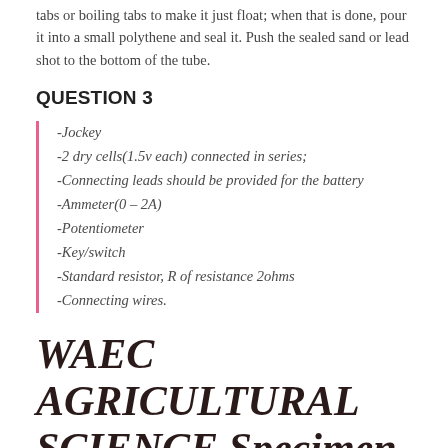tabs or boiling tabs to make it just float; when that is done, pour it into a small polythene and seal it. Push the sealed sand or lead shot to the bottom of the tube.
QUESTION 3
-Jockey
-2 dry cells(1.5v each) connected in series;
-Connecting leads should be provided for the battery
-Ammeter(0 – 2A)
-Potentiometer
-Key/switch
-Standard resistor, R of resistance 2ohms
-Connecting wires.
WAEC AGRICULTURAL SCIENCE Specimen 2022